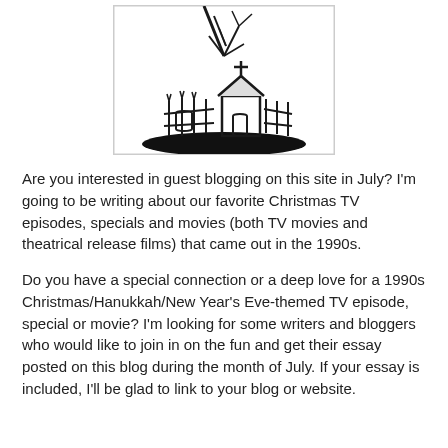[Figure (illustration): Black and white illustration of a spooky graveyard scene with a small church or chapel with a cross on top, a wrought iron fence, and eerie bare tree branches, on a dark oval ground — reminiscent of Nightmare Before Christmas artwork.]
Are you interested in guest blogging on this site in July?  I'm going to be writing about our favorite Christmas TV episodes, specials and movies (both TV movies and theatrical release films) that came out in the 1990s.
Do you have a special connection or a deep love for a 1990s Christmas/Hanukkah/New Year's Eve-themed TV episode, special or movie?  I'm looking for some writers and bloggers who would like to join in on the fun and get their essay posted on this blog during the month of July.  If your essay is included, I'll be glad to link to your blog or website.